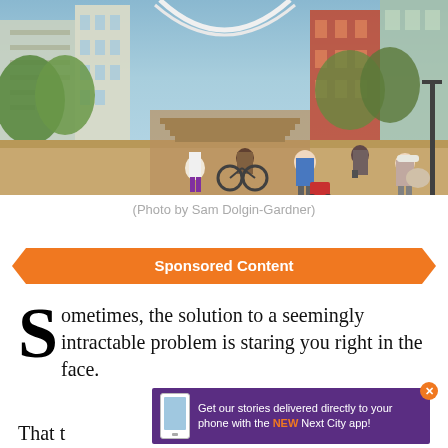[Figure (photo): Outdoor urban scene with pedestrians, a cyclist, and a stroller on a walkway/bridge, with city buildings and green trees in background.]
(Photo by Sam Dolgin-Gardner)
Sponsored Content
Sometimes, the solution to a seemingly intractable problem is staring you right in the face.
That t
[Figure (infographic): Advertisement banner: 'Get our stories delivered directly to your phone with the NEW Next City app!' with phone graphic, on purple background. Close button (x) in orange circle.]